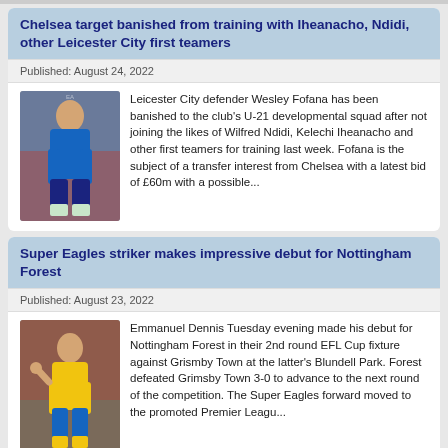Chelsea target banished from training with Iheanacho, Ndidi, other Leicester City first teamers
Published: August 24, 2022
[Figure (photo): Leicester City player in blue kit]
Leicester City defender Wesley Fofana has been banished to the club's U-21 developmental squad after not joining the likes of Wilfred Ndidi, Kelechi Iheanacho and other first teamers for training last week.   Fofana is the subject of a transfer interest from Chelsea with a latest bid of £60m with a possible...
Super Eagles striker makes impressive debut for Nottingham Forest
Published: August 23, 2022
[Figure (photo): Emmanuel Dennis in yellow and blue Nottingham Forest kit]
Emmanuel Dennis Tuesday evening made his debut for Nottingham Forest in their 2nd round EFL Cup fixture against Grismby Town at the latter's Blundell Park.   Forest defeated Grimsby Town 3-0 to advance to the next round of the competition.   The Super Eagles forward moved to the promoted Premier Leagu...
EFL Cup: Super Eagles player makes debut in...